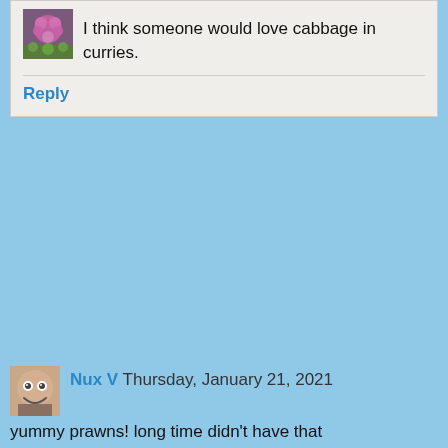I think someone would love cabbage in curries.
Reply
Nux V Thursday, January 21, 2021
yummy prawns! long time didn't have that